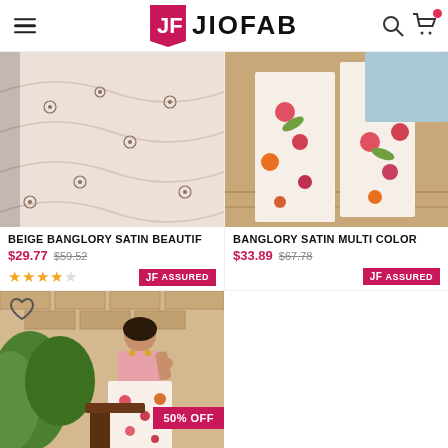JIOFAB
[Figure (photo): Beige Banglory Satin fabric with embroidered floral motifs]
BEIGE BANGLORY SATIN BEAUTIF
$29.77 $59.52
[Figure (photo): Banglory Satin Multi Color floral print fabric]
BANGLORY SATIN MULTI COLOR
$33.89 $67.78
[Figure (photo): Woman wearing pink crop top and floral lehenga skirt sitting outdoors]